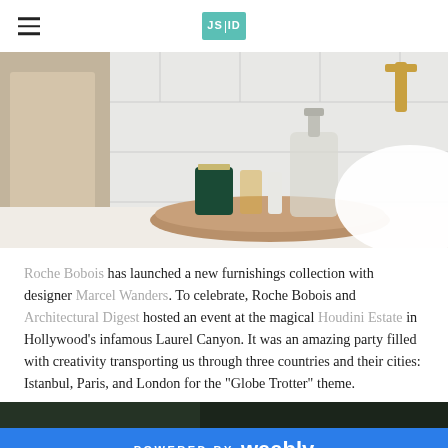JS ID (logo)
[Figure (photo): Bathroom countertop with a wooden tray holding a soap dispenser, candle, perfume bottles, and toiletries. A beige towel hangs on the left, a gold faucet is visible on the right, white tiled wall background.]
Roche Bobois has launched a new furnishings collection with designer Marcel Wanders. To celebrate, Roche Bobois and Architectural Digest hosted an event at the magical Houdini Estate in Hollywood’s infamous Laurel Canyon. It was an amazing party filled with creativity transporting us through three countries and their cities: Istanbul, Paris, and London for the “Globe Trotter” theme.
[Figure (photo): Partial view of a second photo, appears dark/outdoor scene, partially visible at bottom of page.]
POWERED BY weebly